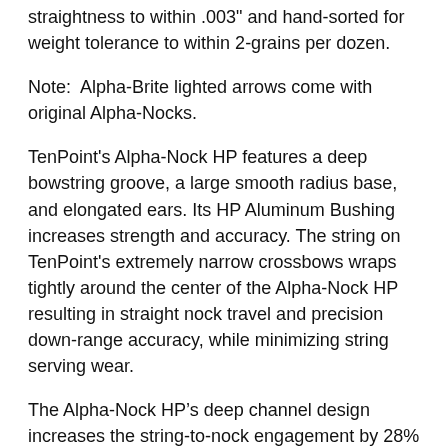straightness to within .003" and hand-sorted for weight tolerance to within 2-grains per dozen.
Note:  Alpha-Brite lighted arrows come with original Alpha-Nocks.
TenPoint's Alpha-Nock HP features a deep bowstring groove, a large smooth radius base, and elongated ears. Its HP Aluminum Bushing increases strength and accuracy. The string on TenPoint's extremely narrow crossbows wraps tightly around the center of the Alpha-Nock HP resulting in straight nock travel and precision down-range accuracy, while minimizing string serving wear.
The Alpha-Nock HP’s deep channel design increases the string-to-nock engagement by 28% and “holds” the bowstring in place during the shot which prevents “shoot-over” or “shoot-under”.
The Alpha-Nock HP can be used in any TenPoint, Wicked